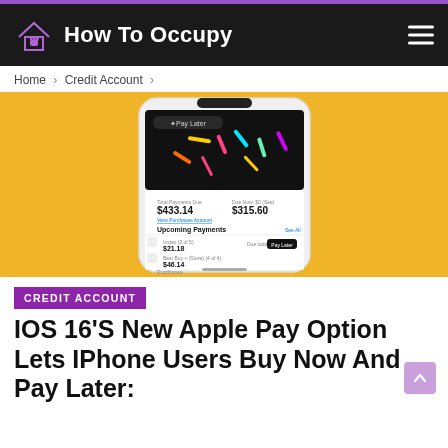How To Occupy
Home > Credit Account >
[Figure (screenshot): iPhone showing Apple Pay Later screen with payment amounts $433.14 and $315.60, Upcoming Payments section with items $21.18, $46.14, $23.78, on a yellow background]
CREDIT ACCOUNT
IOS 16'S New Apple Pay Option Lets IPhone Users Buy Now And Pay Later: